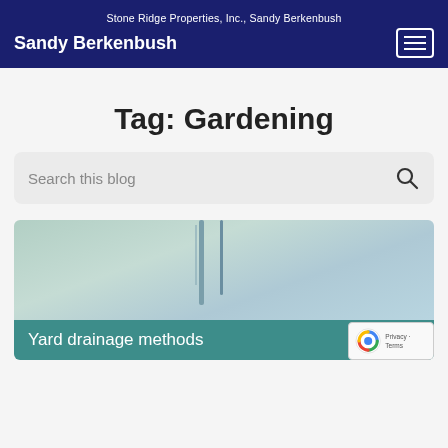Stone Ridge Properties, Inc., Sandy Berkenbush
Sandy Berkenbush
Tag: Gardening
Search this blog
[Figure (photo): Yard drainage pipes against a light teal/blue wall background with caption 'Yard drainage methods']
Yard drainage methods